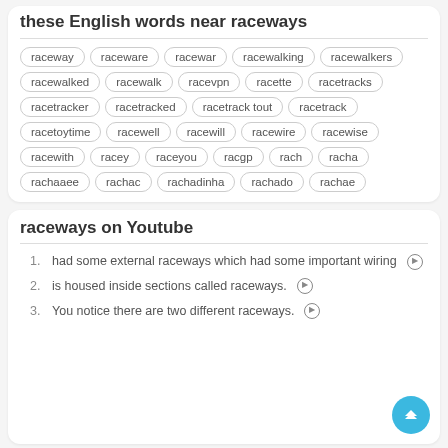these English words near raceways
raceway raceware racewar racewalking racewalkers racewalked racewalk racevpn racette racetracks racetracker racetracked racetrack tout racetrack racetoytime racewell racewill racewire racewise racewith racey raceyou racgp rach racha rachaaee rachac rachadinha rachado rachae
raceways on Youtube
had some external raceways which had some important wiring ▶
is housed inside sections called raceways. ▶
You notice there are two different raceways. ▶